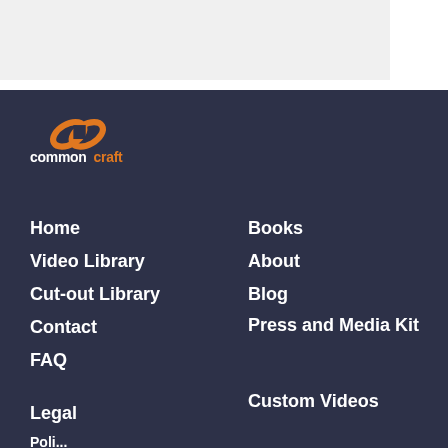[Figure (logo): Common Craft logo with orange chain-link icon and text 'commoncraft' in white and orange]
Home
Video Library
Cut-out Library
Contact
FAQ
Legal
Policy (partially visible)
Books
About
Blog
Press and Media Kit
Custom Videos